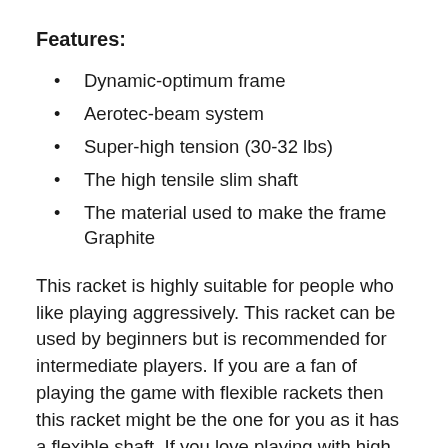Features:
Dynamic-optimum frame
Aerotec-beam system
Super-high tension (30-32 lbs)
The high tensile slim shaft
The material used to make the frame Graphite
This racket is highly suitable for people who like playing aggressively. This racket can be used by beginners but is recommended for intermediate players. If you are a fan of playing the game with flexible rackets then this racket might be the one for you as it has a flexible shaft. If you love playing with high tension string then you can use up to 32 lbs